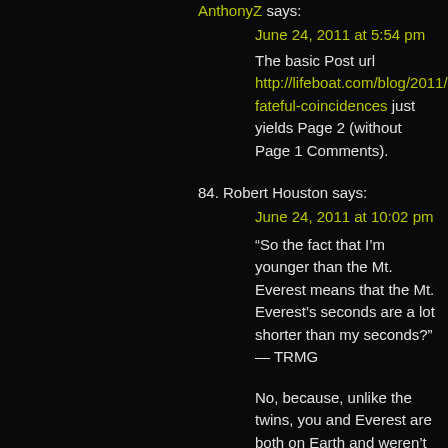83. AnthonyZ says:
June 24, 2011 at 5:54 pm
The basic Post url http://lifeboat.com/blog/2011/06/five-fateful-coincidences just yields Page 2 (without Page 1 Comments).
84. Robert Houston says:
June 24, 2011 at 10:02 pm
“So the fact that I’m younger than the Mt. Everest means that the Mt. Everest’s seconds are a lot shorter than my seconds?” — TRMG
No, because, unlike the twins, you and Everest are both on Earth and weren’t born the same day. Here’s how to represent your ages:
TRMG: 12 years old.
Everest: 60 million year old.
However, seconds at the peak of Mt.